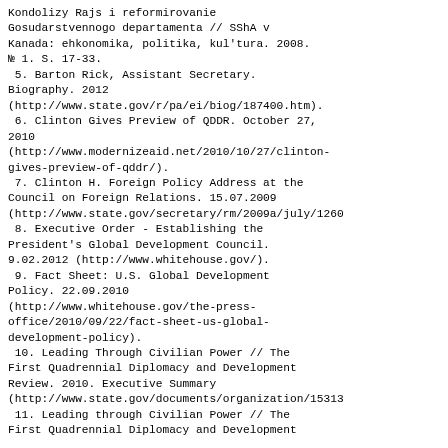Kondolizy Rajs i reformirovanie Gosudarstvennogo departamenta // SShA v Kanada: ehkonomika, politika, kul'tura. 2008. № 1. S. 17-33.
5. Barton Rick, Assistant Secretary. Biography. 2012 (http://www.state.gov/r/pa/ei/biog/187400.htm).
6. Clinton Gives Preview of QDDR. October 27, 2010 (http://www.modernizeaid.net/2010/10/27/clinton-gives-preview-of-qddr/).
7. Clinton H. Foreign Policy Address at the Council on Foreign Relations. 15.07.2009 (http://www.state.gov/secretary/rm/2009a/july/1260...
8. Executive Order - Establishing the President's Global Development Council. 9.02.2012 (http://www.whitehouse.gov/).
9. Fact Sheet: U.S. Global Development Policy. 22.09.2010 (http://www.whitehouse.gov/the-press-office/2010/09/22/fact-sheet-us-global-development-policy).
10. Leading Through Civilian Power // The First Quadrennial Diplomacy and Development Review. 2010. Executive Summary (http://www.state.gov/documents/organization/15313...
11. Leading through Civilian Power // The First Quadrennial Diplomacy and Development...